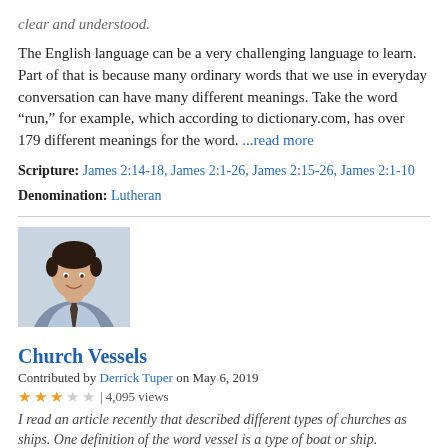clear and understood.
The English language can be a very challenging language to learn. Part of that is because many ordinary words that we use in everyday conversation can have many different meanings. Take the word “run,” for example, which according to dictionary.com, has over 179 different meanings for the word. ...read more
Scripture: James 2:14-18, James 2:1-26, James 2:15-26, James 2:1-10
Denomination: Lutheran
[Figure (photo): Headshot photo of a man in a light blue shirt and dark tie, smiling, with dark hair]
Church Vessels
Contributed by Derrick Tuper on May 6, 2019
★★★☆☆ | 4,095 views
I read an article recently that described different types of churches as ships. One definition of the word vessel is a type of boat or ship.